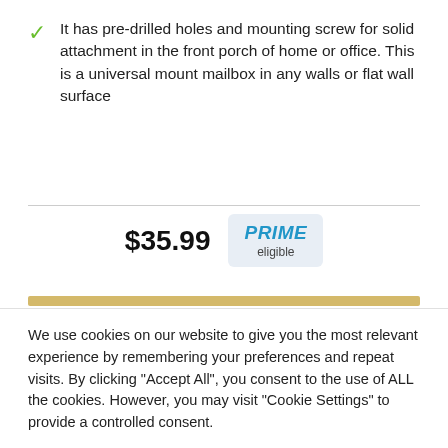It has pre-drilled holes and mounting screw for solid attachment in the front porch of home or office. This is a universal mount mailbox in any walls or flat wall surface
$35.99  PRIME eligible
We use cookies on our website to give you the most relevant experience by remembering your preferences and repeat visits. By clicking “Accept All”, you consent to the use of ALL the cookies. However, you may visit "Cookie Settings" to provide a controlled consent.
Cookie Settings  Accept All